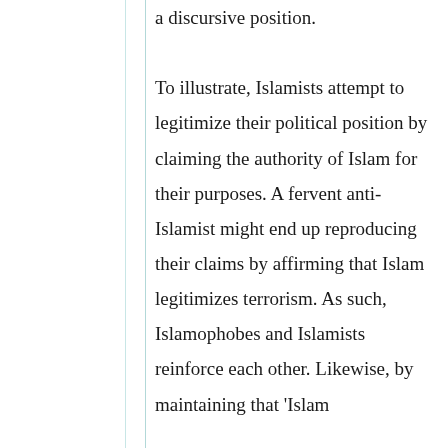a discursive position.

To illustrate, Islamists attempt to legitimize their political position by claiming the authority of Islam for their purposes. A fervent anti-Islamist might end up reproducing their claims by affirming that Islam legitimizes terrorism. As such, Islamophobes and Islamists reinforce each other. Likewise, by maintaining that 'Islam